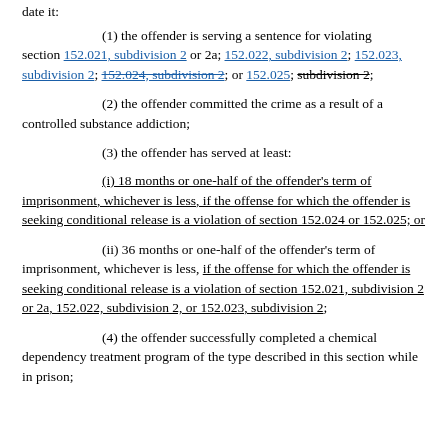date it:
(1) the offender is serving a sentence for violating section 152.021, subdivision 2 or 2a; 152.022, subdivision 2; 152.023, subdivision 2; 152.024, subdivision 2; or 152.025, subdivision 2;
(2) the offender committed the crime as a result of a controlled substance addiction;
(3) the offender has served at least:
(i) 18 months or one-half of the offender's term of imprisonment, whichever is less, if the offense for which the offender is seeking conditional release is a violation of section 152.024 or 152.025; or
(ii) 36 months or one-half of the offender's term of imprisonment, whichever is less, if the offense for which the offender is seeking conditional release is a violation of section 152.021, subdivision 2 or 2a, 152.022, subdivision 2, or 152.023, subdivision 2;
(4) the offender successfully completed a chemical dependency treatment program of the type described in this section while in prison;